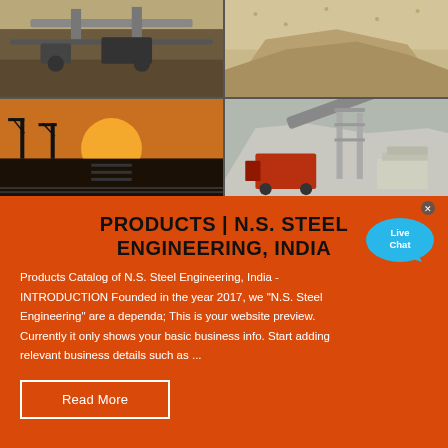[Figure (photo): Grid of four industrial/mining site photos: top-left shows mining conveyor equipment, top-right shows sand/aggregate pile, bottom-left shows crane at sunset port, bottom-right shows construction/quarry conveyor system with red equipment]
PRODUCTS | N.S. STEEL ENGINEERING, INDIA
Products Catalog of N.S. Steel Engineering, India - INTRODUCTION Founded in the year 2017, we "N.S. Steel Engineering" are a dependa; This is your website preview. Currently it only shows your basic business info. Start adding relevant business details such as ...
Read More